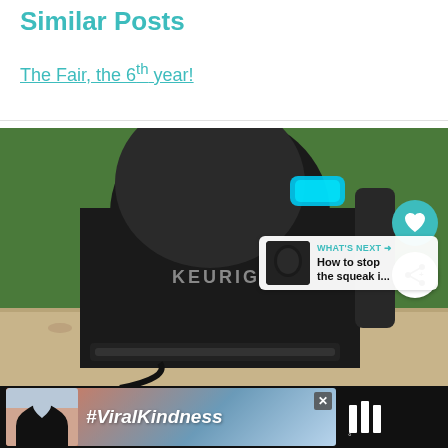Similar Posts
The Fair, the 6th year!
[Figure (photo): A Keurig coffee maker on a granite countertop against a green wall, with blue LED display lit. Overlaid UI elements: teal heart/like button, white share button, and a 'What's Next' card showing 'How to stop the squeak i...']
[Figure (other): Advertisement banner: black background with a colorful ad showing heart-shaped hands silhouette and text '#ViralKindness', with a close (X) button and a logo on the right.]